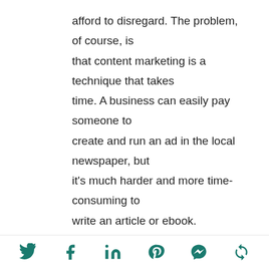afford to disregard. The problem, of course, is that content marketing is a technique that takes time. A business can easily pay someone to create and run an ad in the local newspaper, but it's much harder and more time-consuming to write an article or ebook.
A successful content marketing campaign includes:
Content Creation (blogs, articles, ebooks,
Social share icons: Twitter, Facebook, LinkedIn, Pinterest, Messenger, Refresh